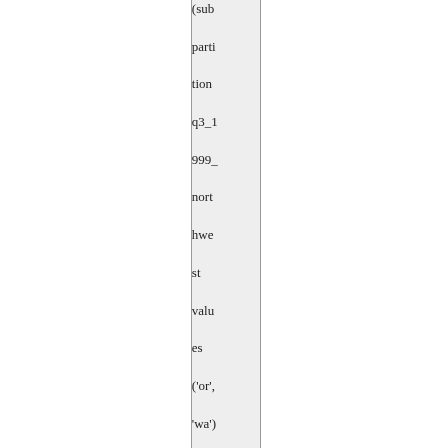| (subpartition q3_1999_northwest values ('or', 'wa'), subpartition q3_1999_southwest |